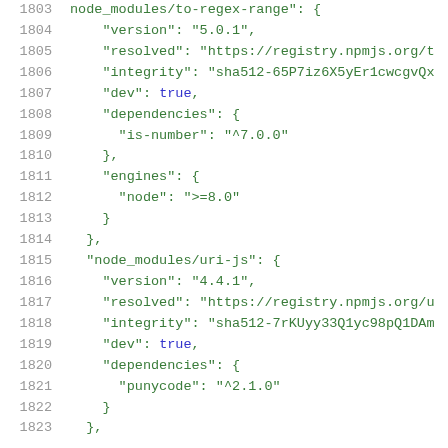Code snippet showing JSON package-lock.json content, lines 1803-1823, including node_modules/uri-js entry with version, resolved, integrity, dev, dependencies fields.